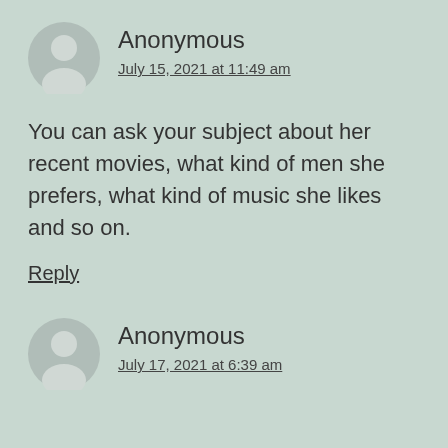Anonymous
July 15, 2021 at 11:49 am
You can ask your subject about her recent movies, what kind of men she prefers, what kind of music she likes and so on.
Reply
Anonymous
July 17, 2021 at 6:39 am